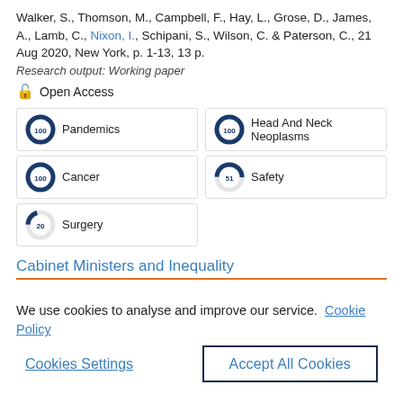Walker, S., Thomson, M., Campbell, F., Hay, L., Grose, D., James, A., Lamb, C., Nixon, I., Schipani, S., Wilson, C. & Paterson, C., 21 Aug 2020, New York, p. 1-13, 13 p.
Research output: Working paper
Open Access
[Figure (infographic): Keyword badges with donut-style percentage icons: Pandemics 100%, Head And Neck Neoplasms 100%, Cancer 100%, Safety 50%, Surgery 20%]
Cabinet Ministers and Inequality
We use cookies to analyse and improve our service. Cookie Policy
Cookies Settings
Accept All Cookies